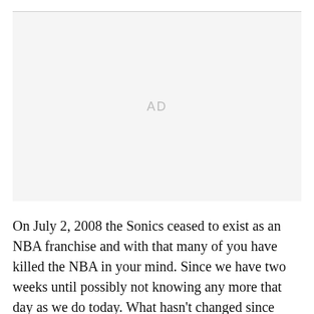[Figure (other): Advertisement placeholder box with 'AD' label centered in a light gray rectangle]
On July 2, 2008 the Sonics ceased to exist as an NBA franchise and with that many of you have killed the NBA in your mind. Since we have two weeks until possibly not knowing any more that day as we do today. What hasn't changed since you've last checked out a game: David Stern is still commissioner, Adam